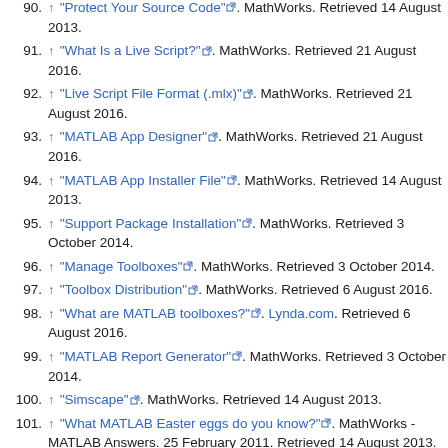90. ↑ "Protect Your Source Code". MathWorks. Retrieved 14 August 2013.
91. ↑ "What Is a Live Script?". MathWorks. Retrieved 21 August 2016.
92. ↑ "Live Script File Format (.mlx)". MathWorks. Retrieved 21 August 2016.
93. ↑ "MATLAB App Designer". MathWorks. Retrieved 21 August 2016.
94. ↑ "MATLAB App Installer File". MathWorks. Retrieved 14 August 2013.
95. ↑ "Support Package Installation". MathWorks. Retrieved 3 October 2014.
96. ↑ "Manage Toolboxes". MathWorks. Retrieved 3 October 2014.
97. ↑ "Toolbox Distribution". MathWorks. Retrieved 6 August 2016.
98. ↑ "What are MATLAB toolboxes?". Lynda.com. Retrieved 6 August 2016.
99. ↑ "MATLAB Report Generator". MathWorks. Retrieved 3 October 2014.
100. ↑ "Simscape". MathWorks. Retrieved 14 August 2013.
101. ↑ "What MATLAB Easter eggs do you know?". MathWorks - MATLAB Answers. 25 February 2011. Retrieved 14 August 2013.
102. ↑ Eddins, Steve (17 October 2006). "The Story Behind the MATLAB